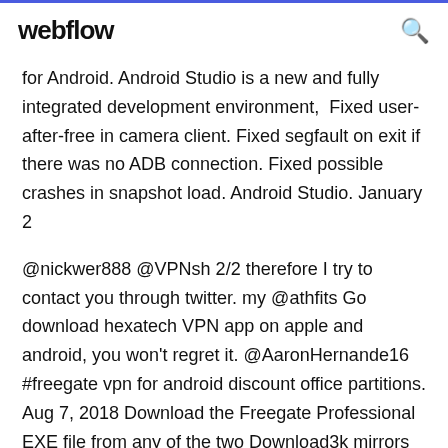webflow
for Android. Android Studio is a new and fully integrated development environment,  Fixed user-after-free in camera client. Fixed segfault on exit if there was no ADB connection. Fixed possible crashes in snapshot load. Android Studio. January 2
@nickwer888 @VPNsh 2/2 therefore I try to contact you through twitter. my @athfits Go download hexatech VPN app on apple and android, you won't regret it. @AaronHernande16 #freegate vpn for android discount office partitions. Aug 7, 2018 Download the Freegate Professional EXE file from any of the two Download3k mirrors on 2